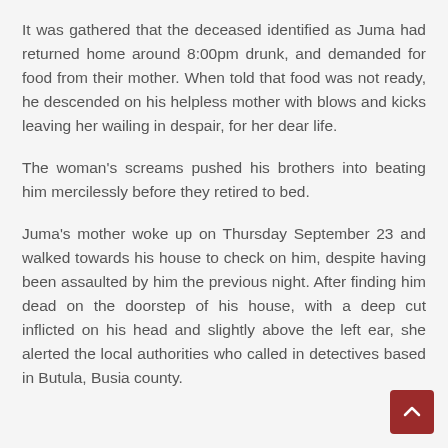It was gathered that the deceased identified as Juma had returned home around 8:00pm drunk, and demanded for food from their mother. When told that food was not ready, he descended on his helpless mother with blows and kicks leaving her wailing in despair, for her dear life.
The woman's screams pushed his brothers into beating him mercilessly before they retired to bed.
Juma's mother woke up on Thursday September 23 and walked towards his house to check on him, despite having been assaulted by him the previous night. After finding him dead on the doorstep of his house, with a deep cut inflicted on his head and slightly above the left ear, she alerted the local authorities who called in detectives based in Butula, Busia county.